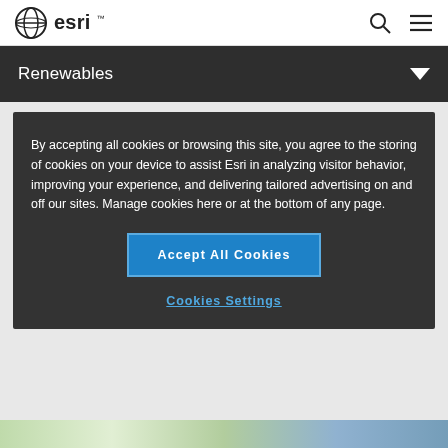[Figure (logo): Esri globe logo with 'esri' text in black]
Renewables
By accepting all cookies or browsing this site, you agree to the storing of cookies on your device to assist Esri in analyzing visitor behavior, improving your experience, and delivering tailored advertising on and off our sites. Manage cookies here or at the bottom of any page.
Accept All Cookies
Cookies Settings